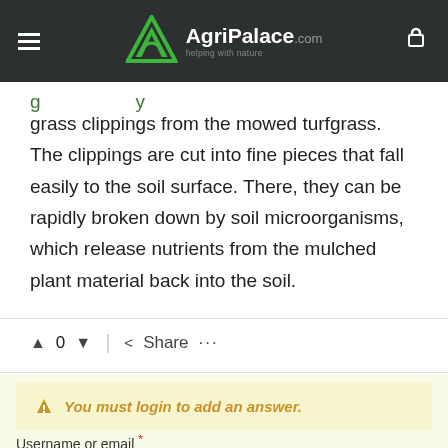[Figure (logo): AgriPalace.com logo with green triangle/arrow icon on dark background header, hamburger menu on left, cart icon on right]
grass clippings from the mowed turfgrass. The clippings are cut into fine pieces that fall easily to the soil surface. There, they can be rapidly broken down by soil microorganisms, which release nutrients from the mulched plant material back into the soil.
▲ 0 ▼ | < Share ...
You must login to add an answer.
Username or email *